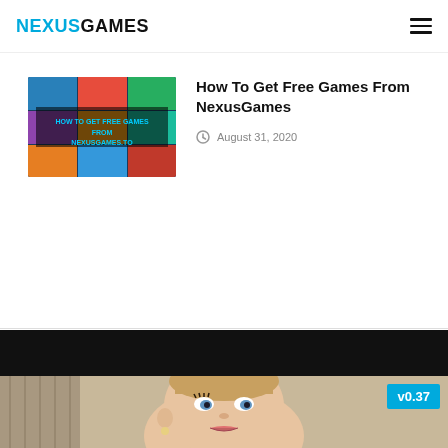NEXUSGAMES
[Figure (screenshot): Thumbnail image showing 'How To Get Free Games From NexusGames' promotional graphic with game covers]
How To Get Free Games From NexusGames
August 31, 2020
[Figure (photo): 3D rendered female character with blonde hair looking upward, from a game. Version badge 'v0.37' in cyan in top right corner.]